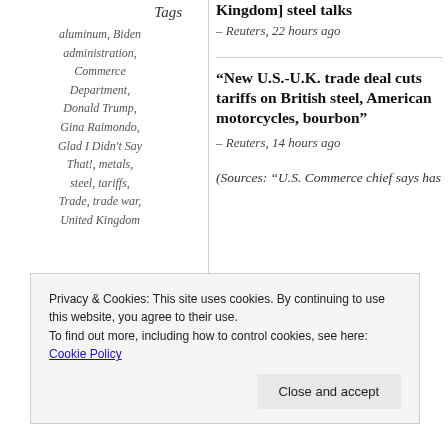Tags
aluminum, Biden administration, Commerce Department, Donald Trump, Gina Raimondo, Glad I Didn't Say That!, metals, steel, tariffs, Trade, trade war, United Kingdom
“New U.S.-U.K. trade deal cuts tariffs on British steel, American motorcycles, bourbon”
– Reuters, 14 hours ago
(Sources: “U.S. Commerce chief says has
Privacy & Cookies: This site uses cookies. By continuing to use this website, you agree to their use. To find out more, including how to control cookies, see here: Cookie Policy
Close and accept